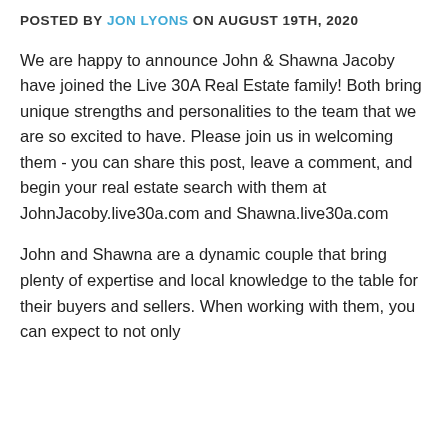POSTED BY JON LYONS ON AUGUST 19TH, 2020
We are happy to announce John & Shawna Jacoby have joined the Live 30A Real Estate family! Both bring unique strengths and personalities to the team that we are so excited to have. Please join us in welcoming them - you can share this post, leave a comment, and begin your real estate search with them at JohnJacoby.live30a.com and Shawna.live30a.com
John and Shawna are a dynamic couple that bring plenty of expertise and local knowledge to the table for their buyers and sellers. When working with them, you can expect to not only